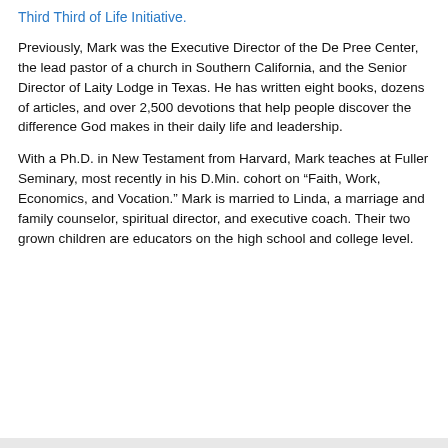Third Third of Life Initiative.
Previously, Mark was the Executive Director of the De Pree Center, the lead pastor of a church in Southern California, and the Senior Director of Laity Lodge in Texas. He has written eight books, dozens of articles, and over 2,500 devotions that help people discover the difference God makes in their daily life and leadership.
With a Ph.D. in New Testament from Harvard, Mark teaches at Fuller Seminary, most recently in his D.Min. cohort on “Faith, Work, Economics, and Vocation.” Mark is married to Linda, a marriage and family counselor, spiritual director, and executive coach. Their two grown children are educators on the high school and college level.